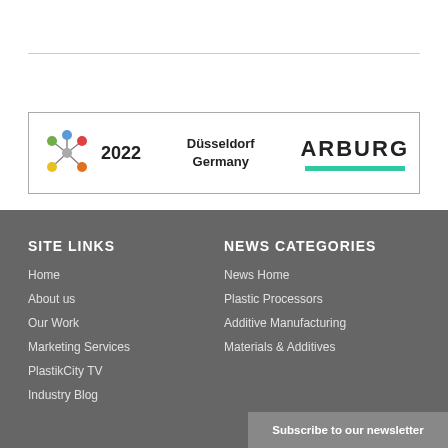[Figure (logo): Advertisement banner: Plastics trade fair 2022 Düsseldorf Germany, with ARBURG logo and green underline bar]
SITE LINKS
Home
About us
Our Work
Marketing Services
PlastikCity TV
Industry Blog
NEWS CATEGORIES
News Home
Plastic Processors
Additive Manufacturing
Materials & Additives
Subscribe to our newsletter